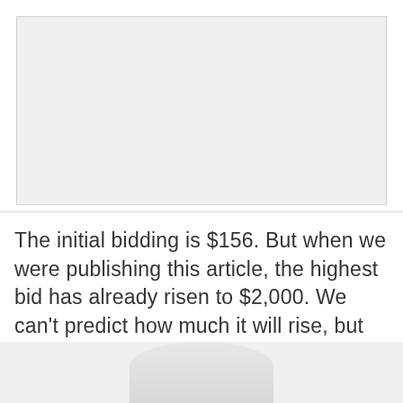[Figure (photo): Large light gray placeholder image area at the top of the page]
The initial bidding is $156. But when we were publishing this article, the highest bid has already risen to $2,000. We can't predict how much it will rise, but the interest in this handset is huge.
[Figure (photo): Partial image at the bottom showing what appears to be a curved silver/gray handset or device]